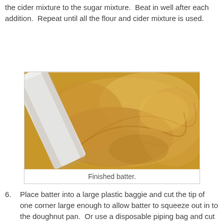the cider mixture to the sugar mixture.  Beat in well after each addition.  Repeat until all the flour and cider mixture is used.
[Figure (photo): Close-up photograph of finished cake batter being mixed in a bowl, showing swirled golden-yellow batter with a white mixer attachment.]
Finished batter.
6. Place batter into a large plastic baggie and cut the tip of one corner large enough to allow batter to squeeze out in to the doughnut pan.  Or use a disposable piping bag and cut off the end.
[Figure (photo): Photo of doughnut pan with batter being piped into rings, showing partially filled doughnut molds and a hand squeezing a piping bag.]